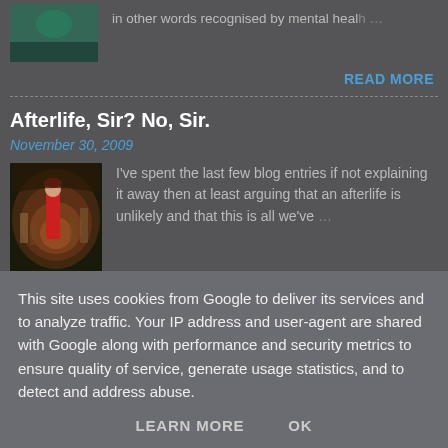[Figure (photo): Small thumbnail image, dark teal/green nature scene, top left]
in other words recognised by mental health …
READ MORE
Afterlife, Sir? No, Sir.
November 30, 2009
[Figure (photo): Thumbnail image of a classical painting depicting Dante in red robe in a layered circular hell scene]
I've spent the last few blog entries if not explaining it away then at least arguing that an afterlife is unlikely and that this is all we've …
READ MORE
This site uses cookies from Google to deliver its services and to analyze traffic. Your IP address and user-agent are shared with Google along with performance and security metrics to ensure quality of service, generate usage statistics, and to detect and address abuse.
LEARN MORE   OK